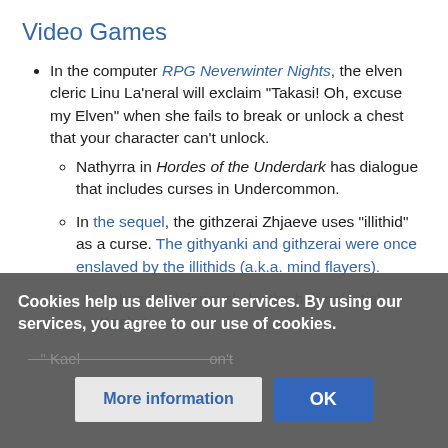Video Games
In the computer RPG Neverwinter Nights, the elven cleric Linu La'neral will exclaim "Takasi! Oh, excuse my Elven" when she fails to break or unlock a chest that your character can't unlock.
Nathyrra in Hordes of the Underdark has dialogue that includes curses in Undercommon.
In the sequel, the githzerai Zhjaeve uses "illithid" as a curse. The githyanki and githzerai were once enslaved by the illithids (a.k.a. mind flayers).
Subverted hilariously by the half-celestial Kaelyn...
Cookies help us deliver our services. By using our services, you agree to our use of cookies.
More information | OK